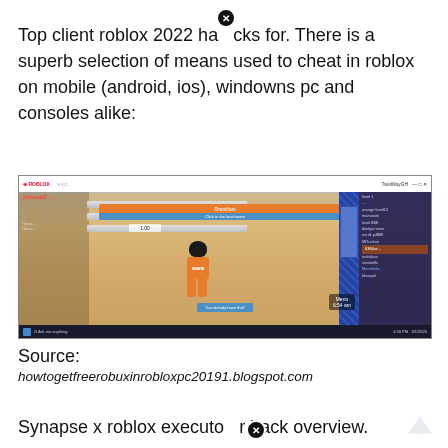Top client roblox 2022 hacks for. There is a superb selection of means used to cheat in roblox on mobile (android, ios), windowns pc and consoles alike:
[Figure (screenshot): Screenshot of a Roblox game (prison/jailbreak game) on a Windows PC desktop. A character in an orange inmate uniform is visible in a room with wooden floors. UI panels visible on left and right sides. An orange 'Breakfast' banner shown at top center. Windows taskbar visible at the bottom.]
Source:
howtogetfreerobuxinrobloxpc20191.blogspot.com
Synapse x roblox executor hack overview.